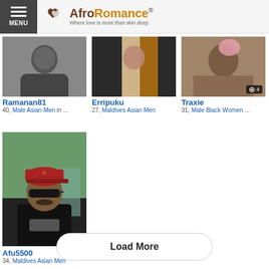AfroRomance — Where love is more than skin deep
[Figure (photo): Profile photo of Ramanan81, cropped close-up face]
Ramanan81
40, Male Asian Men in ...
[Figure (photo): Profile photo of Erripuku, person in orange/white clothing]
Erripuku
27, Maldives Asian Men
[Figure (photo): Profile photo of Traxie, 4 photos badge]
Traxie
31, Male Black Women ...
[Figure (photo): Profile photo of Afu5500, man with red cap and sunglasses, 3 photos badge]
Afu5500
34, Maldives Asian Men
Load More